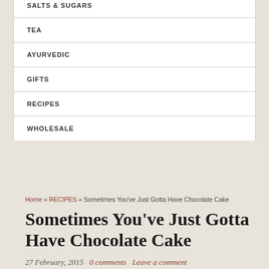SALTS & SUGARS
TEA
AYURVEDIC
GIFTS
RECIPES
WHOLESALE
Home » RECIPES » Sometimes You've Just Gotta Have Chocolate Cake
Sometimes You've Just Gotta Have Chocolate Cake
27 February, 2015    0 comments    Leave a comment